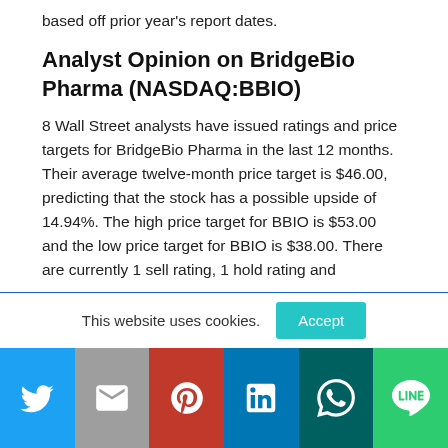based off prior year's report dates.
Analyst Opinion on BridgeBio Pharma (NASDAQ:BBIO)
8 Wall Street analysts have issued ratings and price targets for BridgeBio Pharma in the last 12 months. Their average twelve-month price target is $46.00, predicting that the stock has a possible upside of 14.94%. The high price target for BBIO is $53.00 and the low price target for BBIO is $38.00. There are currently 1 sell rating, 1 hold rating and
This website uses cookies.
[Figure (other): Social sharing bar with Twitter, Mail, Pinterest, LinkedIn, WhatsApp, and LINE icons]